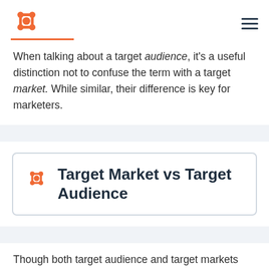HubSpot logo and hamburger menu
When talking about a target audience, it's a useful distinction not to confuse the term with a target market. While similar, their difference is key for marketers.
Target Market vs Target Audience
Though both target audience and target markets are centered around segmenting customers into groups to